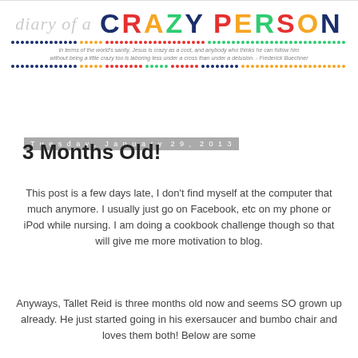[Figure (logo): Blog header logo reading 'diary of a CRAZY PERSON' with colorful lettering and decorative dot rows and tagline quote by Frederick Buechner]
Tuesday, January 29, 2013
3 Months Old!
This post is a few days late, I don't find myself at the computer that much anymore. I usually just go on Facebook, etc on my phone or iPod while nursing. I am doing a cookbook challenge though so that will give me more motivation to blog.
Anyways, Tallet Reid is three months old now and seems SO grown up already. He just started going in his exersaucer and bumbo chair and loves them both! Below are some